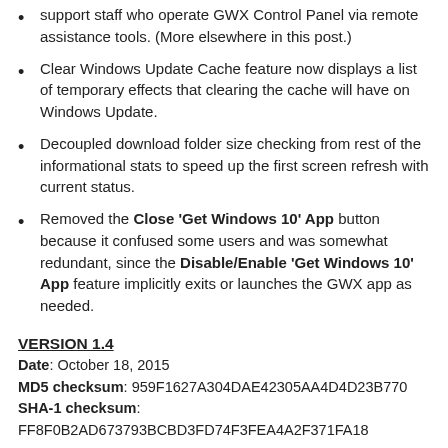support staff who operate GWX Control Panel via remote assistance tools. (More elsewhere in this post.)
Clear Windows Update Cache feature now displays a list of temporary effects that clearing the cache will have on Windows Update.
Decoupled download folder size checking from rest of the informational stats to speed up the first screen refresh with current status.
Removed the Close 'Get Windows 10' App button because it confused some users and was somewhat redundant, since the Disable/Enable 'Get Windows 10' App feature implicitly exits or launches the GWX app as needed.
VERSION 1.4
Date: October 18, 2015
MD5 checksum: 959F1627A304DAE42305AA4D4D23B770
SHA-1 checksum:
FF8F0B2AD673793BCBD3FD74F3FEA4A2F371FA18